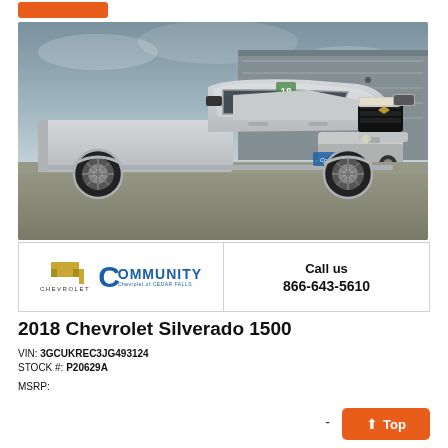[Figure (photo): 2018 Chevrolet Silverado 1500 silver truck parked in a dealership lot with other vehicles visible in background and a grey industrial building. Cloudy sky overhead. Green year sticker '18' on windshield.]
[Figure (logo): Chevrolet bowtie logo and Community Chevrolet of Cedar Falls dealership logo]
Call us
866-643-5610
2018 Chevrolet Silverado 1500
VIN: 3GCUKREC3JG493124
STOCK #: P20629A
MSRP: